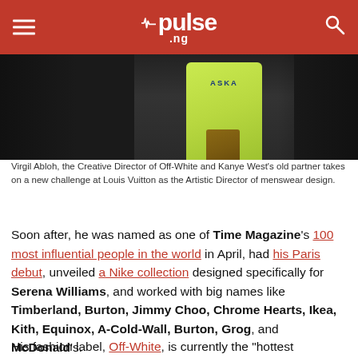pulse .ng
[Figure (photo): Photo of Virgil Abloh wearing a yellow-green hoodie with 'ALASKA' text, partially visible against a dark background]
Virgil Abloh, the Creative Director of Off-White and Kanye West's old partner takes on a new challenge at Louis Vuitton as the Artistic Director of menswear design.
Soon after, he was named as one of Time Magazine's 100 most influential people in the world in April, had his Paris debut, unveiled a Nike collection designed specifically for Serena Williams, and worked with big names like Timberland, Burton, Jimmy Choo, Chrome Hearts, Ikea, Kith, Equinox, A-Cold-Wall, Burton, Grog, and McDonald's.
His fashion label, Off-White, is currently the "hottest